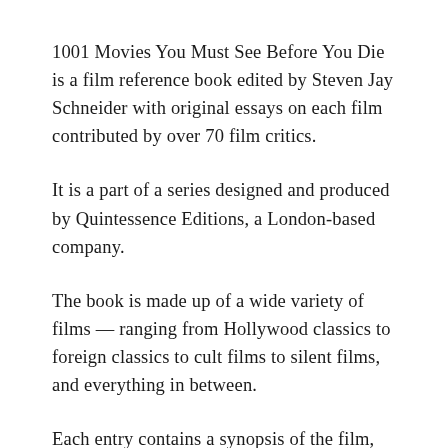1001 Movies You Must See Before You Die is a film reference book edited by Steven Jay Schneider with original essays on each film contributed by over 70 film critics.
It is a part of a series designed and produced by Quintessence Editions, a London-based company.
The book is made up of a wide variety of films — ranging from Hollywood classics to foreign classics to cult films to silent films, and everything in between.
Each entry contains a synopsis of the film,